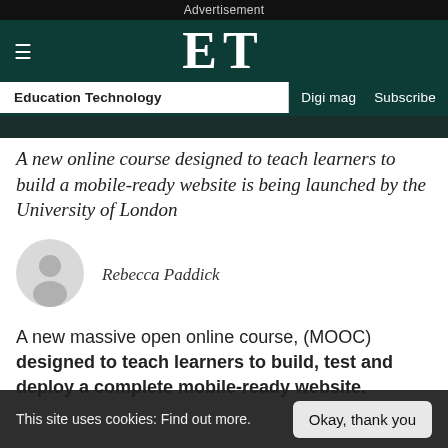Advertisement
ET  Education Technology  Digi mag  Subscribe
A new online course designed to teach learners to build a mobile-ready website is being launched by the University of London
Rebecca Paddick
A new massive open online course, (MOOC) designed to teach learners to build, test and deploy a complete mobile-ready website.
This site uses cookies: Find out more.  Okay, thank you